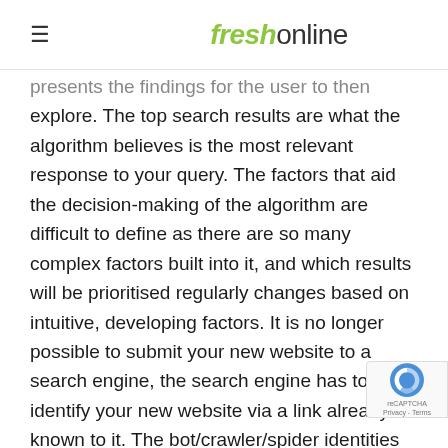≡ freshonline
presents the findings for the user to then explore. The top search results are what the algorithm believes is the most relevant response to your query. The factors that aid the decision-making of the algorithm are difficult to define as there are so many complex factors built into it, and which results will be prioritised regularly changes based on intuitive, developing factors. It is no longer possible to submit your new website to a search engine, the search engine has to identify your new website via a link already known to it. The bot/crawler/spider identities the new website through the thread and your